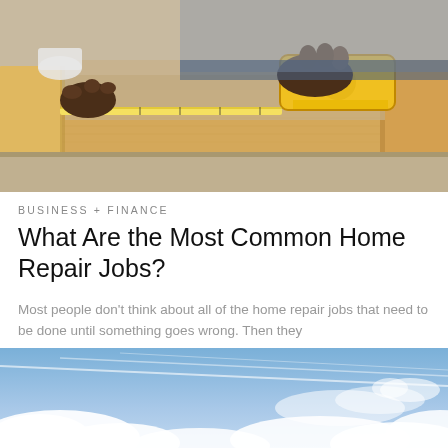[Figure (photo): A person measuring a wooden plank or cabinet frame with a yellow tape measure on a work surface. The photo shows hands of a dark-skinned individual holding the tape measure over light-colored wooden board.]
BUSINESS + FINANCE
What Are the Most Common Home Repair Jobs?
Most people don't think about all of the home repair jobs that need to be done until something goes wrong. Then they
[Figure (photo): A blue sky with white fluffy clouds and contrails, viewed from below.]